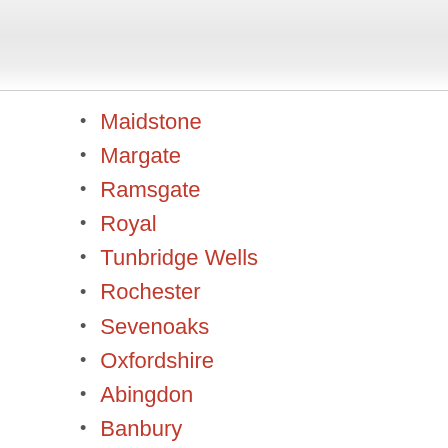Maidstone
Margate
Ramsgate
Royal
Tunbridge Wells
Rochester
Sevenoaks
Oxfordshire
Abingdon
Banbury
Bicester
Carterton
Henley-on-thames